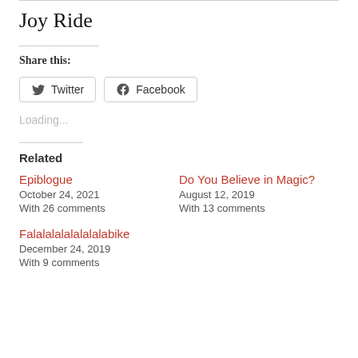Joy Ride
Share this:
[Figure (other): Twitter and Facebook share buttons]
Loading...
Related
Epiblogue
October 24, 2021
With 26 comments
Do You Believe in Magic?
August 12, 2019
With 13 comments
Falalalalalalalalabike
December 24, 2019
With 9 comments